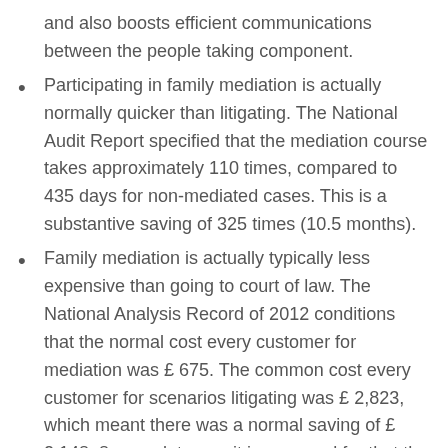and also boosts efficient communications between the people taking component.
Participating in family mediation is actually normally quicker than litigating. The National Audit Report specified that the mediation course takes approximately 110 times, compared to 435 days for non-mediated cases. This is a substantive saving of 325 times (10.5 months).
Family mediation is actually typically less expensive than going to court of law. The National Analysis Record of 2012 conditions that the normal cost every customer for mediation was £ 675. The common cost every customer for scenarios litigating was £ 2,823, which meant there was a normal saving of £ 2,148. 8 years later on, it is prepared for that the financial savings will definitely be significantly more significant.